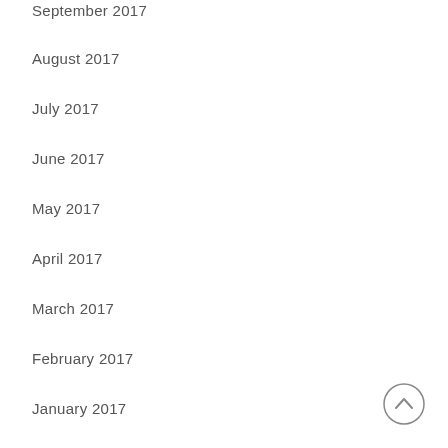September 2017
August 2017
July 2017
June 2017
May 2017
April 2017
March 2017
February 2017
January 2017
Categories
Careers